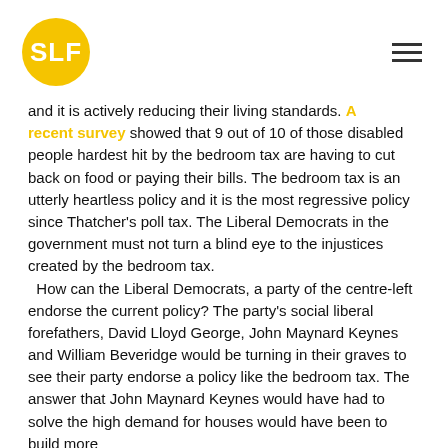SLF (logo) with hamburger menu
and it is actively reducing their living standards. A recent survey showed that 9 out of 10 of those disabled people hardest hit by the bedroom tax are having to cut back on food or paying their bills. The bedroom tax is an utterly heartless policy and it is the most regressive policy since Thatcher's poll tax. The Liberal Democrats in the government must not turn a blind eye to the injustices created by the bedroom tax.
  How can the Liberal Democrats, a party of the centre-left endorse the current policy? The party's social liberal forefathers, David Lloyd George, John Maynard Keynes and William Beveridge would be turning in their graves to see their party endorse a policy like the bedroom tax. The answer that John Maynard Keynes would have had to solve the high demand for houses would have been to build more houses and stimulate the construction industry.